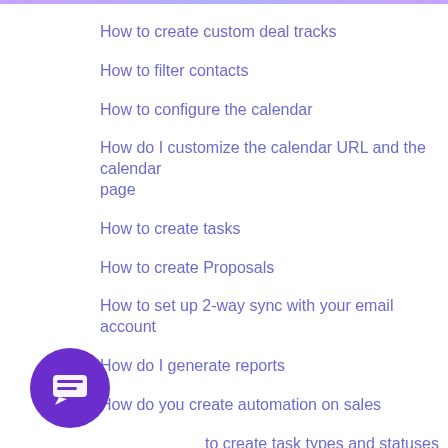How to create custom deal tracks
How to filter contacts
How to configure the calendar
How do I customize the calendar URL and the calendar page
How to create tasks
How to create Proposals
How to set up 2-way sync with your email account
How do I generate reports
How do you create automation on sales
How to create task types and statuses
Where can I customize the confirmation email